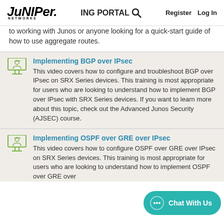JUNIPER NETWORKS | ING PORTAL | Register | Log In
to working with Junos or anyone looking for a quick-start guide of how to use aggregate routes.
Implementing BGP over IPsec
This video covers how to configure and troubleshoot BGP over IPsec on SRX Series devices. This training is most appropriate for users who are looking to understand how to implement BGP over IPsec with SRX Series devices. If you want to learn more about this topic, check out the Advanced Junos Security (AJSEC) course.
Implementing OSPF over GRE over IPsec
This video covers how to configure OSPF over GRE over IPsec on SRX Series devices. This training is most appropriate for users who are looking to understand how to implement OSPF over GRE over